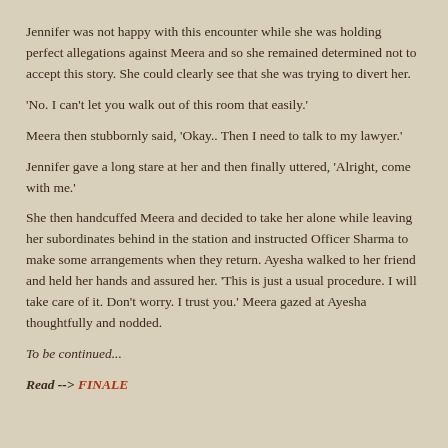Jennifer was not happy with this encounter while she was holding perfect allegations against Meera and so she remained determined not to accept this story. She could clearly see that she was trying to divert her.
‘No. I can’t let you walk out of this room that easily.’
Meera then stubbornly said, ‘Okay.. Then I need to talk to my lawyer.’
Jennifer gave a long stare at her and then finally uttered, ‘Alright, come with me.’
She then handcuffed Meera and decided to take her alone while leaving her subordinates behind in the station and instructed Officer Sharma to make some arrangements when they return. Ayesha walked to her friend and held her hands and assured her. ‘This is just a usual procedure. I will take care of it. Don’t worry. I trust you.’ Meera gazed at Ayesha thoughtfully and nodded.
To be continued...
Read --> FINALE